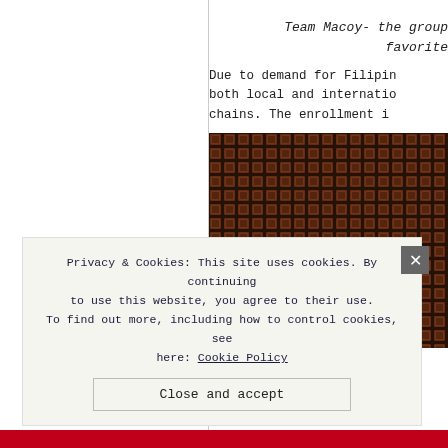Team Macoy- the group favorite
Due to demand for Filipin both local and internatio chains. The enrollment i
[Figure (photo): A dark brown grid/lattice pattern photo, appears to be a woven or tiled surface with reddish-brown squares in a regular grid pattern.]
Privacy & Cookies: This site uses cookies. By continuing to use this website, you agree to their use. To find out more, including how to control cookies, see here: Cookie Policy
Close and accept